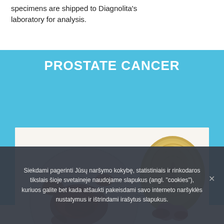specimens are shipped to Diagnolita's laboratory for analysis.
[Figure (illustration): Prostate cancer educational infographic with blue background showing title 'PROSTATE CANCER' and a medical illustration depicting a magnified view of cancer cells on the left (circular inset) connected by a line to a cross-section of the prostate gland and surrounding anatomy on the right.]
Siekdami pagerinti Jūsų naršymo kokybę, statistiniais ir rinkodaros tikslais šioje svetaineje naudojame slapukus (angl. "cookies"), kuriuos galite bet kada atšaukti pakeisdami savo interneto naršyklės nustatymus ir ištrindami irašytus slapukus.